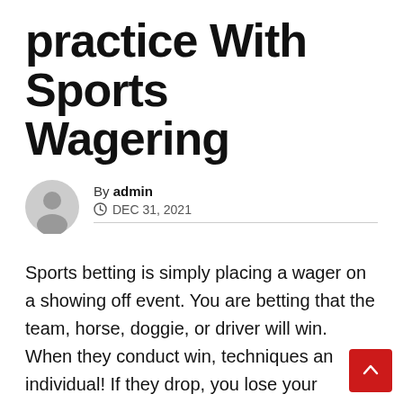practice With Sports Wagering
By admin
DEC 31, 2021
Sports betting is simply placing a wager on a showing off event. You are betting that the team, horse, doggie, or driver will win. When they conduct win, techniques an individual! If they drop, you lose your current bet amount. Sports activities betting occurs most over the planet, though in the United States this particular type of gambling is not as remarkably